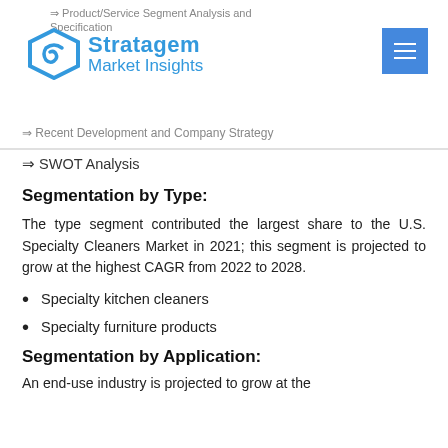Product/Service Segment Analysis and Specification | Recent Development and Company Strategy Analysis
⇒ SWOT Analysis
Segmentation by Type:
The type segment contributed the largest share to the U.S. Specialty Cleaners Market in 2021; this segment is projected to grow at the highest CAGR from 2022 to 2028.
Specialty kitchen cleaners
Specialty furniture products
Segmentation by Application:
An end-use industry is projected to grow at the